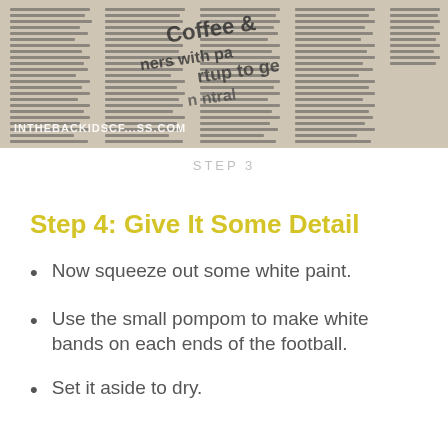[Figure (photo): Close-up photograph of newspaper pages open, with text columns visible. A watermark 'INTHEBACKIDSCF...SS.COM' appears at bottom left in white text.]
STEP 3
Step 4: Give It Some Detail
Now squeeze out some white paint.
Use the small pompom to make white bands on each ends of the football.
Set it aside to dry.